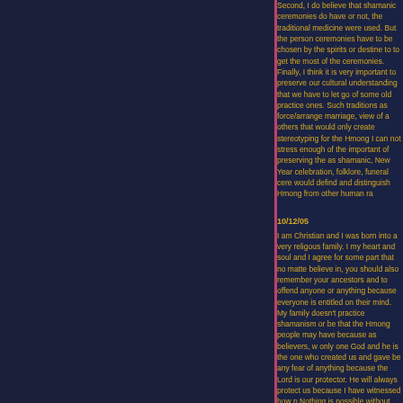Second, I do believe that shamanic ceremonies do have or not, the traditional medicine were used. But the person ceremonies have to be chosen by the spirits or destine to to get the most of the ceremonies. Finally, I think it is very important to preserve our cultural understanding that we have to let go of some old practice ones. Such traditions as force/arrange marriage, view of a others that would only create stereotyping for the Hmong I can not stress enough of the important of preserving the as shamanic, New Year celebration, folklore, funeral cere would defind and distinguish Hmong from other human ra
10/12/05
I am Christian and I was born into a very religous family. I my heart and soul and I agree for some part that no matte believe in, you should also remember your ancestors and to offend anyone or anything because everyone is entitled on their mind. My family doesn't practice shamanism or be that the Hmong people may have because as believers, w only one God and he is the one who created us and gave be any fear of anything because the Lord is our protector. He will always protect us because I have witnessed how p Nothing is possible without God because to me, the purpo make any sense if there is no God. I believe that there is a such as Heaven because there is either happiness or torn can't be just one or the other. If there was only Heaven, w people go? Heaven too? God created us to love him and sinning, we all fall into temptation and now we have to wo No matter how much we have sinned, just as long as we him as our Lord and Savior, we will be saved. Many peopl because for many, it takes an eye witness to believe but it that it takes faith as small as a mustard seed to move